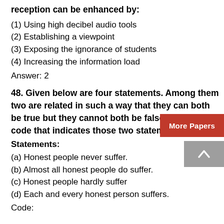reception can be enhanced by:
(1) Using high decibel audio tools
(2) Establishing a viewpoint
(3) Exposing the ignorance of students
(4) Increasing the information load
Answer: 2
48. Given below are four statements. Among them two are related in such a way that they can both be true but they cannot both be false. Select the code that indicates those two statements:
Statements:
(a) Honest people never suffer.
(b) Almost all honest people do suffer.
(c) Honest people hardly suffer
(d) Each and every honest person suffers.
Code: